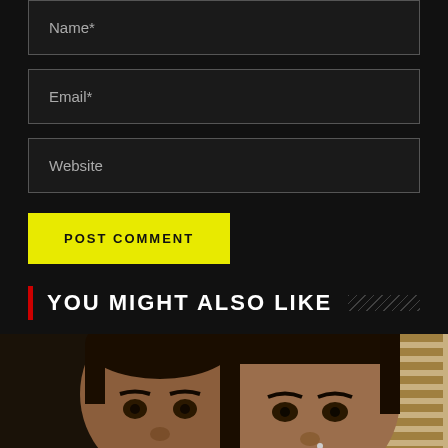Name*
Email*
Website
POST COMMENT
YOU MIGHT ALSO LIKE
[Figure (photo): Close-up photo of two people, a child and an adult woman, facing the camera. The image is cropped to show their faces and upper portions.]